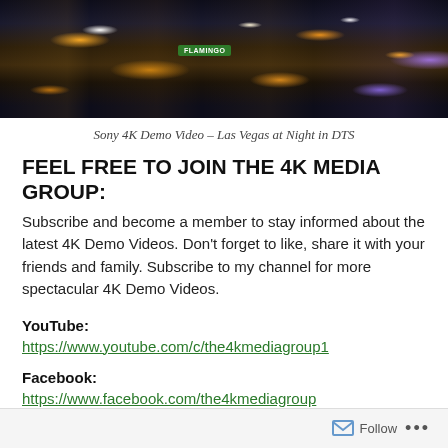[Figure (photo): Aerial night photo of Las Vegas cityscape with bright lights, traffic, and purple/orange glow.]
Sony 4K Demo Video – Las Vegas at Night in DTS
FEEL FREE TO JOIN THE 4K MEDIA GROUP:
Subscribe and become a member to stay informed about the latest 4K Demo Videos. Don't forget to like, share it with your friends and family. Subscribe to my channel for more spectacular 4K Demo Videos.
YouTube:
https://www.youtube.com/c/the4kmediagroup1
Facebook:
https://www.facebook.com/the4kmediagroup
WordPress:
Follow